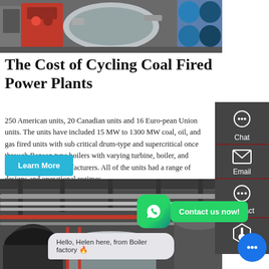[Figure (photo): Industrial boiler/furnace equipment in a factory setting, showing red and silver metallic pipe components]
The Cost of Cycling Coal Fired Power Plants
250 American units, 20 Canadian units and 16 Euro-pean Union units. The units have included 15 MW to 1300 MW coal, oil, and gas fired units with sub critical drum-type and supercritical once through Benson type boilers with varying turbine, boiler, and balance of plant manufacturers. All of the units had a range of designs and operational regimes.
[Figure (photo): Industrial boiler facility interior with large cylindrical tanks and piping systems]
Learn More
Chat
Email
Contact
Contact us now!
Hello, Helen here, from Boiler factory 🔥